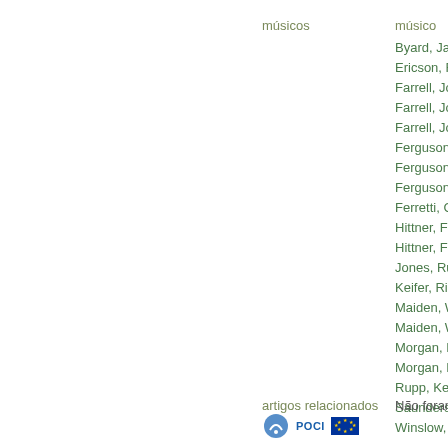músicos
músico
Byard, Jaki
Ericson, Rolf
Farrell, Joe
Farrell, Joe
Farrell, Joe
Ferguson, Mayna...
Ferguson, Mayna...
Ferguson, Mayna...
Ferretti, Chet
Hittner, Frank
Hittner, Frank
Jones, Rufus
Keifer, Rick
Maiden, Willie
Maiden, Willie
Morgan, Lanny
Morgan, Lanny
Rupp, Kenny
Saunders, Charl...
Winslow, Ray
artigos relacionados
Não foram encon...
[Figure (logo): Footer logos including a blue icon, POCI text logo, and EU flag logo]